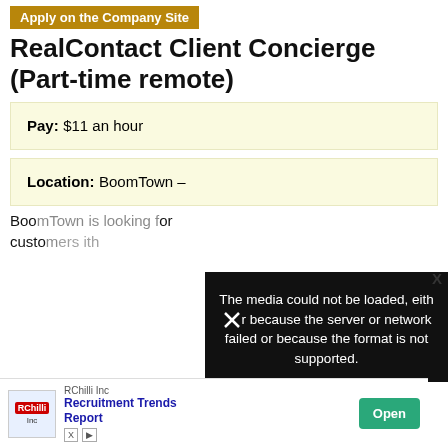Apply on the Company Site
RealContact Client Concierge (Part-time remote)
Pay: $11 an hour
Location: BoomTown –
BoomTown is looking for customers with
[Figure (screenshot): Black overlay error message: 'The media could not be loaded, either because the server or network failed or because the format is not supported.' with X close button]
[Figure (screenshot): Ad banner for RChilli Inc - Recruitment Trends Report with Open button]